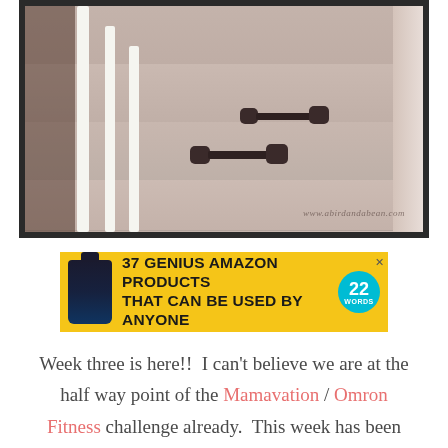[Figure (photo): Photo of two dumbbells placed on carpeted stairs with white railing visible on the left. Watermark reads www.abirdandabean.com]
[Figure (infographic): Yellow advertisement banner: '37 GENIUS AMAZON PRODUCTS THAT CAN BE USED BY ANYONE' with a supplement bottle image on left and teal '22 WORDS' badge on right]
Week three is here!!  I can't believe we are at the half way point of the Mamavation / Omron Fitness challenge already.  This week has been kind of hard, I had sick kids which was un-fun.  Glad everyone is